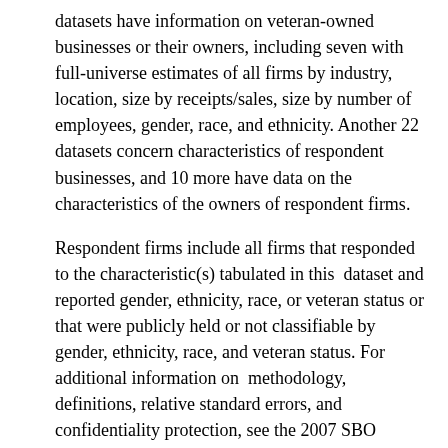datasets have information on veteran-owned businesses or their owners, including seven with full-universe estimates of all firms by industry, location, size by receipts/sales, size by number of employees, gender, race, and ethnicity. Another 22 datasets concern characteristics of respondent businesses, and 10 more have data on the characteristics of the owners of respondent firms.
Respondent firms include all firms that responded to the characteristic(s) tabulated in this  dataset and reported gender, ethnicity, race, or veteran status or that were publicly held or not classifiable by gender, ethnicity, race, and veteran status. For additional information on  methodology, definitions, relative standard errors, and confidentiality protection, see the 2007 SBO website at http://www.census.gov/econ/sbo.
This report was peer-reviewed consistent with Advocacy's data quality guidelines. More information on this process can be obtained by contacting the director of economic research by email or phone at Advocacy's phone number, (202) 205-6533.